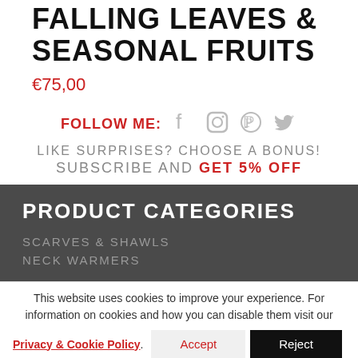FALLING LEAVES & SEASONAL FRUITS
€75,00
FOLLOW ME:
LIKE SURPRISES? CHOOSE A BONUS!
SUBSCRIBE AND GET 5% OFF
PRODUCT CATEGORIES
SCARVES & SHAWLS
NECK WARMERS
This website uses cookies to improve your experience. For information on cookies and how you can disable them visit our Privacy & Cookie Policy. Accept Reject